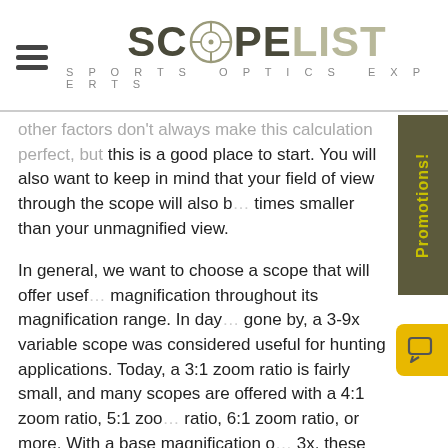SCOPELIST Sports Optics Experts
other factors don't always make this calculation perfect, but this is a good place to start. You will also want to keep in mind that your field of view through the scope will also be times smaller than your unmagnified view.
In general, we want to choose a scope that will offer useful magnification throughout its magnification range. In days gone by, a 3-9x variable scope was considered useful for hunting applications. Today, a 3:1 zoom ratio is fairly small, and many scopes are offered with a 4:1 zoom ratio, 5:1 zoom ratio, 6:1 zoom ratio, or more. With a base magnification of 3x, these ratios would give you a 3-12x, 3-15x, or 3-18x scope respectively. Of course, the trade off we get is a larger size and higher weight, and a higher cost. The wider the